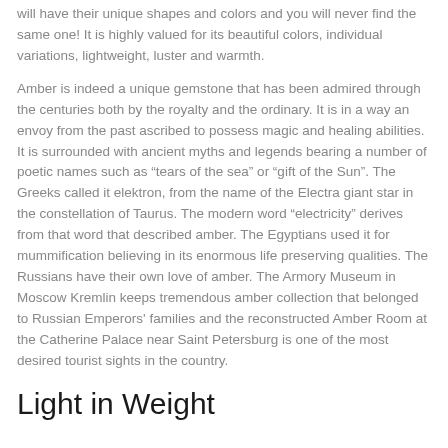will have their unique shapes and colors and you will never find the same one! It is highly valued for its beautiful colors, individual variations, lightweight, luster and warmth.
Amber is indeed a unique gemstone that has been admired through the centuries both by the royalty and the ordinary. It is in a way an envoy from the past ascribed to possess magic and healing abilities. It is surrounded with ancient myths and legends bearing a number of poetic names such as “tears of the sea” or “gift of the Sun”. The Greeks called it elektron, from the name of the Electra giant star in the constellation of Taurus. The modern word “electricity” derives from that word that described amber. The Egyptians used it for mummification believing in its enormous life preserving qualities. The Russians have their own love of amber. The Armory Museum in Moscow Kremlin keeps tremendous amber collection that belonged to Russian Emperors' families and the reconstructed Amber Room at the Catherine Palace near Saint Petersburg is one of the most desired tourist sights in the country.
Light in Weight